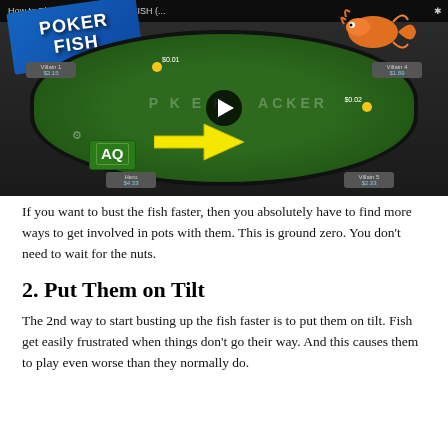[Figure (screenshot): Screenshot of a poker strategy video thumbnail showing a poker table with players labeled Villain 1 ($2.15), Villain 4 ($1.89), Hero ($4.33), Villain 5 ($2.33), cards AQ, a yellow arrow, blinds $0.01 and $0.02, and the text POKER FISH and POKER TRACKER with a play button overlay.]
If you want to bust the fish faster, then you absolutely have to find more ways to get involved in pots with them. This is ground zero. You don't need to wait for the nuts.
2. Put Them on Tilt
The 2nd way to start busting up the fish faster is to put them on tilt. Fish get easily frustrated when things don't go their way. And this causes them to play even worse than they normally do.